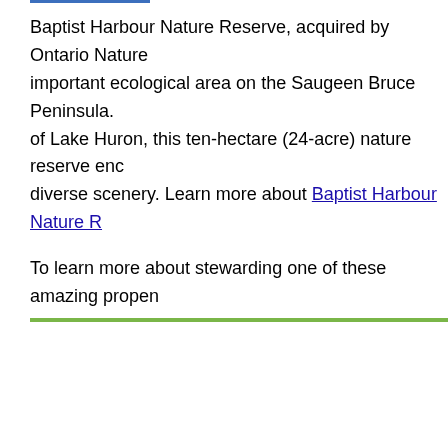Baptist Harbour Nature Reserve, acquired by Ontario Nature important ecological area on the Saugeen Bruce Peninsula. of Lake Huron, this ten-hectare (24-acre) nature reserve enc diverse scenery. Learn more about Baptist Harbour Nature R
To learn more about stewarding one of these amazing propen nature reserves team at reserves@ontarionature.org.